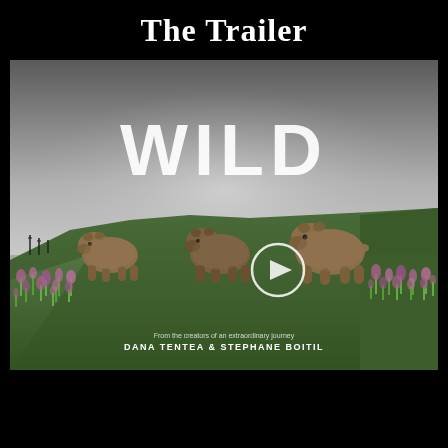The Trailer
[Figure (screenshot): A video thumbnail/trailer image showing three brown bears (grizzly bears) walking across a hillside covered with pink wildflowers and green grass against a cloudy grey sky. The word 'WILD' appears in large bold white text overlaid on the upper portion of the image. A circular play button icon is visible in the center. Small text at the bottom reads 'DANA TENTEA & STEPHANE BOITIL' with a subtitle line above it.]